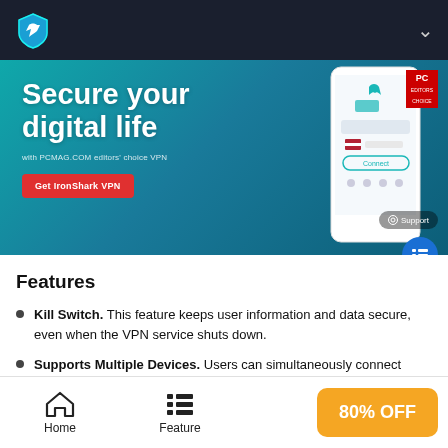[Figure (screenshot): VPN app promotional banner with 'Secure your digital life' text, phone mockup, PC Editors Choice badge, Get IronShark VPN button, and support button overlay]
Features
Kill Switch. This feature keeps user information and data secure, even when the VPN service shuts down.
Supports Multiple Devices. Users can simultaneously connect multiple devices at once. It is also a good VPN for Android. Windows. Mac. iOS. and Linux.
[Figure (infographic): Bottom navigation bar with Home icon, Feature icon, and 80% OFF yellow button]